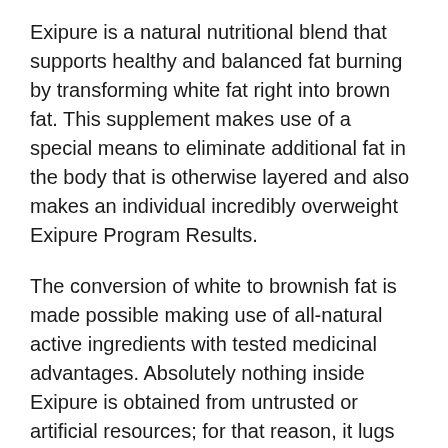Exipure is a natural nutritional blend that supports healthy and balanced fat burning by transforming white fat right into brown fat. This supplement makes use of a special means to eliminate additional fat in the body that is otherwise layered and also makes an individual incredibly overweight Exipure Program Results.
The conversion of white to brownish fat is made possible making use of all-natural active ingredients with tested medicinal advantages. Absolutely nothing inside Exipure is obtained from untrusted or artificial resources; for that reason, it lugs no health and wellness threats. This supplement is presently up for sale at a special reduced rate online.